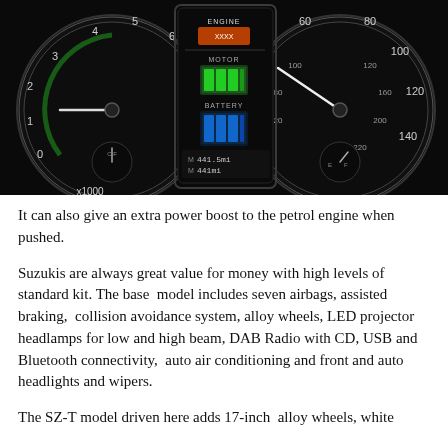[Figure (photo): Car dashboard instrument cluster showing tachometer on the left, central display with ENGINE and MOTOR/BATTERY indicators and 441.5mi/441mi readout, and speedometer on the right, on a dark background.]
It can also give an extra power boost to the petrol engine when pushed.
Suzukis are always great value for money with high levels of standard kit. The base model includes seven airbags, assisted braking, collision avoidance system, alloy wheels, LED projector headlamps for low and high beam, DAB Radio with CD, USB and Bluetooth connectivity, auto air conditioning and front and auto headlights and wipers.
The SZ-T model driven here adds 17-inch alloy wheels, white